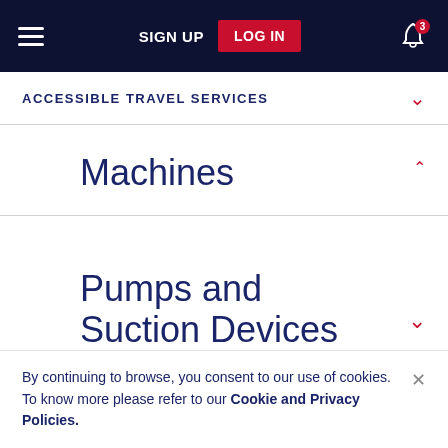SIGN UP  LOG IN
ACCESSIBLE TRAVEL SERVICES
Machines
Pumps and Suction Devices
By continuing to browse, you consent to our use of cookies. To know more please refer to our Cookie and Privacy Policies.